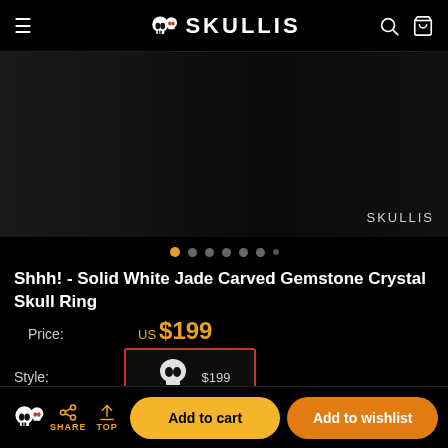SKULLIS
[Figure (photo): Dark product image area showing skull ring with SKULLIS watermark, with image carousel dots below]
Shhh! - Solid White Jade Carved Gemstone Crystal Skull Ring
Price: US $199
Style: $199 (skull ring thumbnail option selected, red border)
US Size: -Select-
Quantity: 1
SHARE | TOP | Add to cart | Add to wishlist